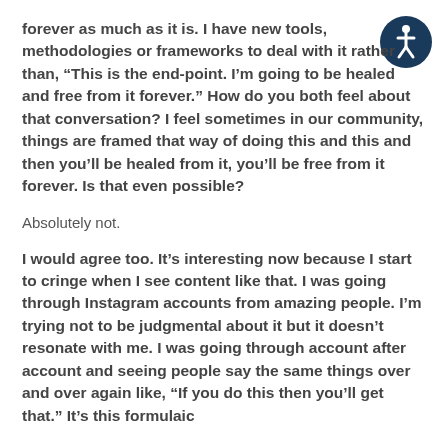forever as much as it is. I have new tools, methodologies or frameworks to deal with it rather than, “This is the end-point. I’m going to be healed and free from it forever.” How do you both feel about that conversation? I feel sometimes in our community, things are framed that way of doing this and this and then you’ll be healed from it, you’ll be free from it forever. Is that even possible?
Absolutely not.
I would agree too. It’s interesting now because I start to cringe when I see content like that. I was going through Instagram accounts from amazing people. I’m trying not to be judgmental about it but it doesn’t resonate with me. I was going through account after account and seeing people say the same things over and over again like, “If you do this then you’ll get that.” It’s this formulaic
[Figure (illustration): Accessibility icon: dark blue circle with white stick figure person inside, representing accessibility/disability access symbol]